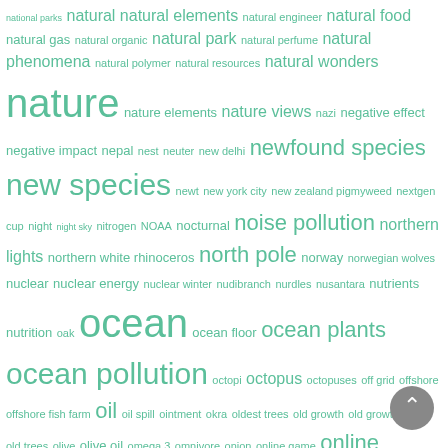[Figure (other): Tag cloud of nature/environment related terms in teal/green color, with word sizes indicating frequency/importance. Words include: national parks, natural natural elements, natural engineer, natural food, natural gas, natural organic, natural park, natural perfume, natural phenomena, natural polymer, natural resources, natural wonders, nature, nature elements, nature views, nazi, negative effect, negative impact, nepal, nest, neuter, new delhi, newfound species, new species, newt, new york city, new zealand pigmyweed, nextgen cup, night, night sky, nitrogen, NOAA, nocturnal, noise pollution, northern lights, northern white rhinoceros, north pole, norway, norwegian wolves, nuclear, nuclear energy, nuclear winter, nudibranch, nurdles, nusantara, nutrients, nutrition, oak, ocean, ocean floor, ocean plants, ocean pollution, octopi, octopus, octopuses, off grid, offshore, offshore fish farm, oil, oil spill, ointment, okra, oldest trees, old growth, old growth forest, old trees, olive, olive oil, omega 3, omnivore, onion, online game, online shopping, Ooho, opossum, oral care, orangutan, orca, orchid, orchids, organic, organic farming, organic food, organic garden, organic perfume, organic pesticides, organism, organizations, ornament, orphaned, outdoor, oxygen, Oymyakon, oyster, ozone, ozone holes, ozone layer, pacific ocean, package free, packaging, paddy, palau, palm oil, panda, pandemic, pangolin, paper, paper battery, paper bottle, paper bottles, paper cup, paper receipt, papers, papua, paradox, parasite, parasites, parenting, paris]